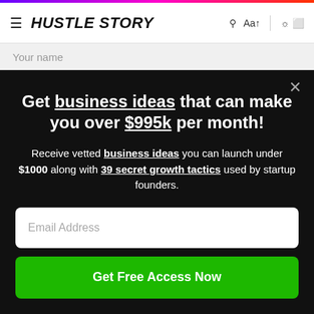HUSTLE STORY
Your name
Get business ideas that can make you over $995k per month!
Receive vetted business ideas you can launch under $1000 along with 39 secret growth tactics used by startup founders.
Email Address
Get Free Access Now